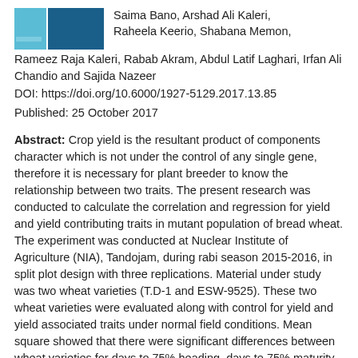[Figure (logo): Teal and dark blue rectangular logo/banner image]
Saima Bano, Arshad Ali Kaleri, Raheela Keerio, Shabana Memon, Rameez Raja Kaleri, Rabab Akram, Abdul Latif Laghari, Irfan Ali Chandio and Sajida Nazeer
DOI: https://doi.org/10.6000/1927-5129.2017.13.85
Published: 25 October 2017
Abstract: Crop yield is the resultant product of components character which is not under the control of any single gene, therefore it is necessary for plant breeder to know the relationship between two traits. The present research was conducted to calculate the correlation and regression for yield and yield contributing traits in mutant population of bread wheat. The experiment was conducted at Nuclear Institute of Agriculture (NIA), Tandojam, during rabi season 2015-2016, in split plot design with three replications. Material under study was two wheat varieties (T.D-1 and ESW-9525). These two wheat varieties were evaluated along with control for yield and yield associated traits under normal field conditions. Mean square showed that there were significant differences between wheat varieties for days to 75% heading, days to 75% maturity, plant